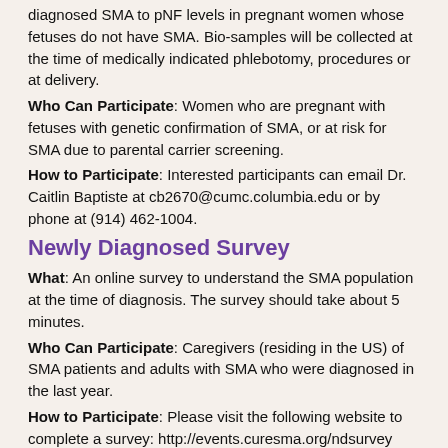diagnosed SMA to pNF levels in pregnant women whose fetuses do not have SMA. Bio-samples will be collected at the time of medically indicated phlebotomy, procedures or at delivery.
Who Can Participate: Women who are pregnant with fetuses with genetic confirmation of SMA, or at risk for SMA due to parental carrier screening.
How to Participate: Interested participants can email Dr. Caitlin Baptiste at cb2670@cumc.columbia.edu or by phone at (914) 462-1004.
Newly Diagnosed Survey
What: An online survey to understand the SMA population at the time of diagnosis. The survey should take about 5 minutes.
Who Can Participate: Caregivers (residing in the US) of SMA patients and adults with SMA who were diagnosed in the last year.
How to Participate: Please visit the following website to complete a survey: http://events.curesma.org/ndsurvey